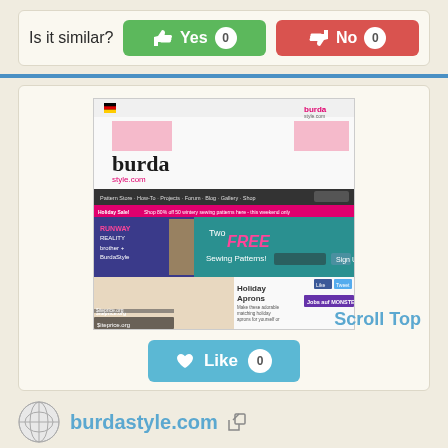Is it similar?
Yes 0
No 0
[Figure (screenshot): Screenshot of burdastyle.com website showing the burda style.com homepage with navigation, a banner for Two FREE Sewing Patterns, and Holiday Aprons section. Watermark: $iteprice.org]
Scroll Top
Like 0
burdastyle.com
burdastyle is a community website for people who sew